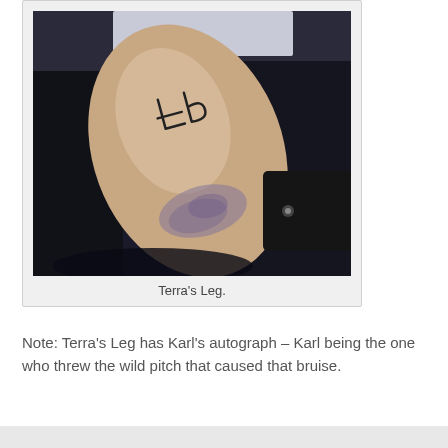[Figure (photo): Close-up photograph of a person's leg showing a bruise and an autograph (initials/signature) written on the skin in black ink.]
Terra's Leg.
Note: Terra's Leg has Karl's autograph – Karl being the one who threw the wild pitch that caused that bruise.